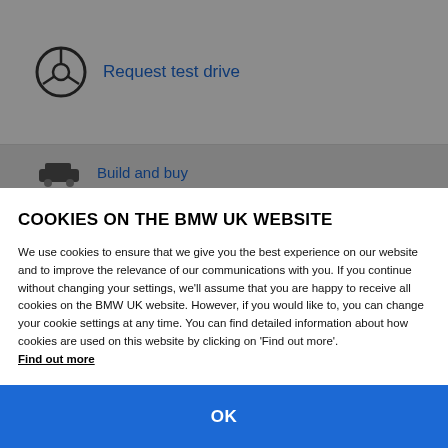[Figure (screenshot): Steering wheel icon for 'Request test drive' link on BMW UK website]
Request test drive
[Figure (screenshot): Car icon for 'Build and buy' link on BMW UK website]
Build and buy
COOKIES ON THE BMW UK WEBSITE
We use cookies to ensure that we give you the best experience on our website and to improve the relevance of our communications with you. If you continue without changing your settings, we'll assume that you are happy to receive all cookies on the BMW UK website. However, if you would like to, you can change your cookie settings at any time. You can find detailed information about how cookies are used on this website by clicking on 'Find out more'.
Find out more
OK